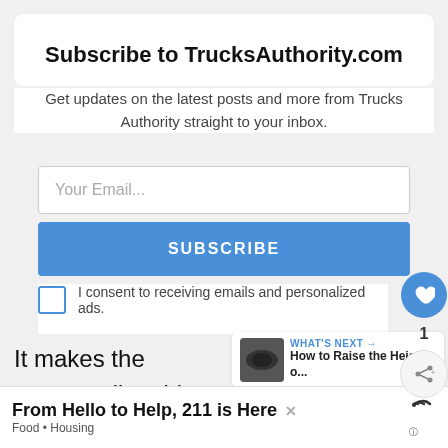Subscribe to TrucksAuthority.com
Get updates on the latest posts and more from Trucks Authority straight to your inbox.
Your Email...
SUBSCRIBE
I consent to receiving emails and personalized ads.
It makes the process disturbing, and y... add the new stuff. Remove the broken parts in th...
WHAT'S NEXT → How to Raise the Height o...
From Hello to Help, 211 is Here
Food • Housing